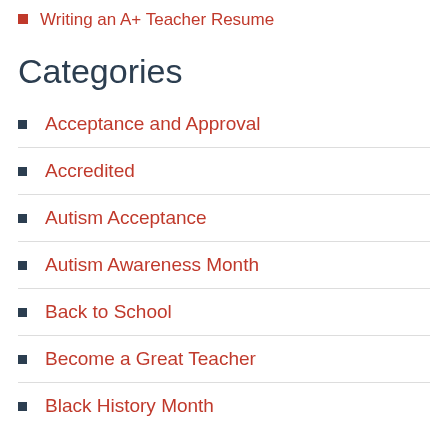Writing an A+ Teacher Resume
Categories
Acceptance and Approval
Accredited
Autism Acceptance
Autism Awareness Month
Back to School
Become a Great Teacher
Black History Month